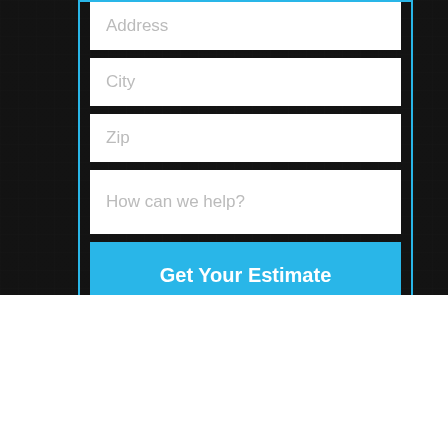[Figure (screenshot): Web form with fields for Address, City, Zip, How can we help?, and a cyan Get Your Estimate button, overlaid on a dark background photo]
CONTACT
Houston Louvered